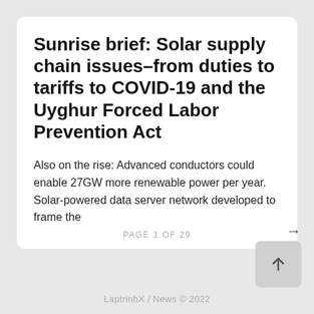Sunrise brief: Solar supply chain issues–from duties to tariffs to COVID-19 and the Uyghur Forced Labor Prevention Act
Also on the rise: Advanced conductors could enable 27GW more renewable power per year. Solar-powered data server network developed to frame the
PAGE 1 OF 29
LaptrinhX / News © 2022